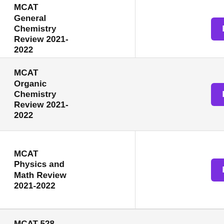MCAT General Chemistry Review 2021-2022
MCAT Organic Chemistry Review 2021-2022
MCAT Physics and Math Review 2021-2022
MCAT 528